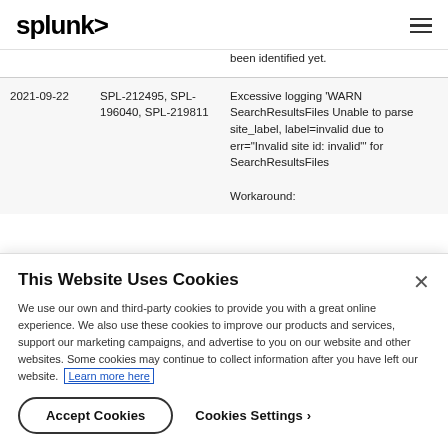splunk>
| Date | ID | Description |
| --- | --- | --- |
|  |  | been identified yet. |
| 2021-09-22 | SPL-212495, SPL-196040, SPL-219811 | Excessive logging 'WARN SearchResultsFiles Unable to parse site_label, label=invalid due to err="Invalid site id: invalid"' for SearchResultsFiles

Workaround: |
This Website Uses Cookies
We use our own and third-party cookies to provide you with a great online experience. We also use these cookies to improve our products and services, support our marketing campaigns, and advertise to you on our website and other websites. Some cookies may continue to collect information after you have left our website. Learn more here
Accept Cookies   Cookies Settings ›